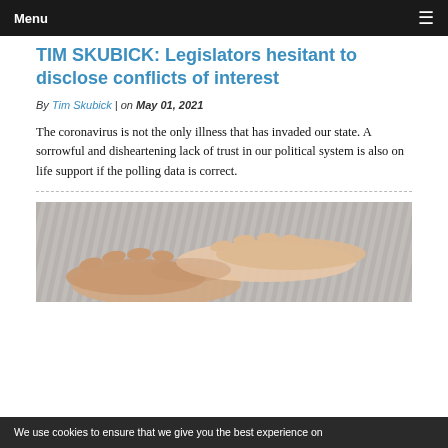Menu
TIM SKUBICK: Legislators hesitant to disclose conflicts of interest
By Tim Skubick | on May 01, 2021
The coronavirus is not the only illness that has invaded our state. A sorrowful and disheartening lack of trust in our political system is also on life support if the polling data is correct.
[Figure (photo): Close-up photograph of two hands touching or holding, one appearing aged/elderly, against a textured striped background]
We use cookies to ensure that we give you the best experience on